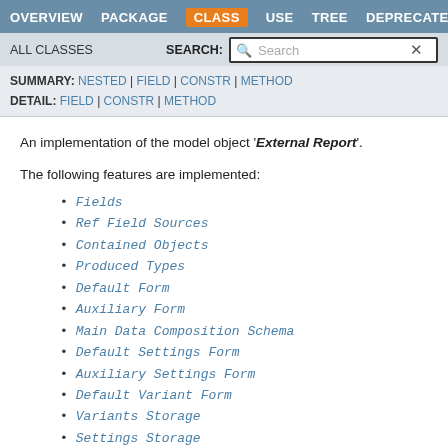OVERVIEW | PACKAGE | CLASS | USE | TREE | DEPRECATED
ALL CLASSES | SEARCH:
SUMMARY: NESTED | FIELD | CONSTR | METHOD | DETAIL: FIELD | CONSTR | METHOD
An implementation of the model object 'External Report'.
The following features are implemented:
Fields
Ref Field Sources
Contained Objects
Produced Types
Default Form
Auxiliary Form
Main Data Composition Schema
Default Settings Form
Auxiliary Settings Form
Default Variant Form
Variants Storage
Settings Storage